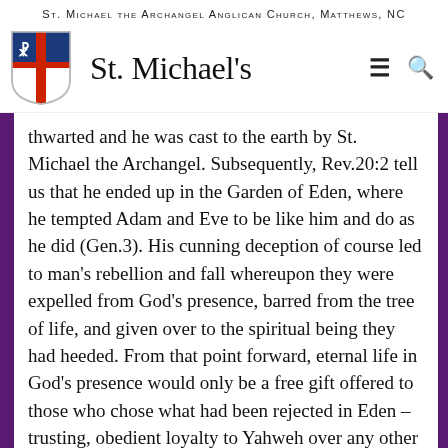St. Michael the Archangel Anglican Church, Matthews, NC
St. Michael's
thwarted and he was cast to the earth by St. Michael the Archangel. Subsequently, Rev.20:2 tell us that he ended up in the Garden of Eden, where he tempted Adam and Eve to be like him and do as he did (Gen.3). His cunning deception of course led to man's rebellion and fall whereupon they were expelled from God's presence, barred from the tree of life, and given over to the spiritual being they had heeded.  From that point forward, eternal life in God's presence would only be a free gift offered to those who chose what had been rejected in Eden – trusting, obedient loyalty to Yahweh over any other spiritual voice